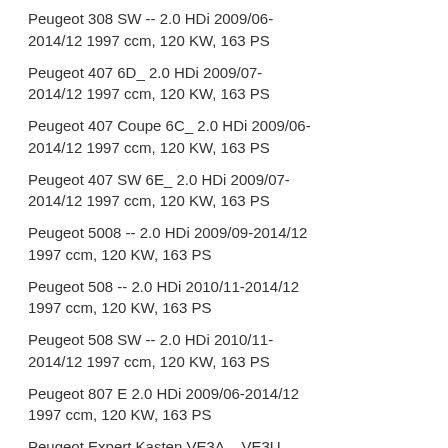Peugeot 308 SW -- 2.0 HDi 2009/06-2014/12 1997 ccm, 120 KW, 163 PS
Peugeot 407 6D_ 2.0 HDi 2009/07-2014/12 1997 ccm, 120 KW, 163 PS
Peugeot 407 Coupe 6C_ 2.0 HDi 2009/06-2014/12 1997 ccm, 120 KW, 163 PS
Peugeot 407 SW 6E_ 2.0 HDi 2009/07-2014/12 1997 ccm, 120 KW, 163 PS
Peugeot 5008 -- 2.0 HDi 2009/09-2014/12 1997 ccm, 120 KW, 163 PS
Peugeot 508 -- 2.0 HDi 2010/11-2014/12 1997 ccm, 120 KW, 163 PS
Peugeot 508 SW -- 2.0 HDi 2010/11-2014/12 1997 ccm, 120 KW, 163 PS
Peugeot 807 E 2.0 HDi 2009/06-2014/12 1997 ccm, 120 KW, 163 PS
Peugeot Expert Kasten VE3A_, VE3U_...